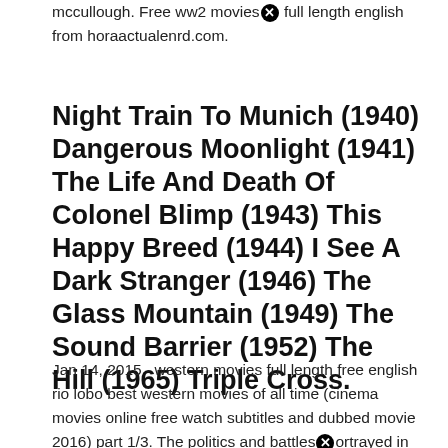mccullough. Free ww2 movies full length english from horaactualenrd.com.
Night Train To Munich (1940) Dangerous Moonlight (1941) The Life And Death Of Colonel Blimp (1943) This Happy Breed (1944) I See A Dark Stranger (1946) The Glass Mountain (1949) The Sound Barrier (1952) The Hill (1965) Triple Cross.
Jan 14, 2015 · western movies full length free english rio lobo best western movies of all time (cinema movies online free watch subtitles and dubbed movie 2016) part 1/3. The politics and battles portrayed in wwii movies